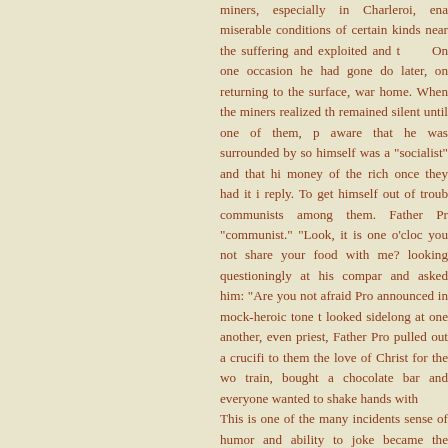miners, especially in Charleroi, ena miserable conditions of certain kinds near the suffering and exploited and t On one occasion he had gone do later, on returning to the surface, war home. When the miners realized th remained silent until one of them, p aware that he was surrounded by so himself was a "socialist" and that hi money of the rich once they had it i reply. To get himself out of troub communists among them. Father Pr "communist." "Look, it is one o'cloc you not share your food with me? looking questioningly at his compar and asked him: "Are you not afraid Pro announced in mock-heroic tone t looked sidelong at one another, even priest, Father Pro pulled out a crucifi to them the love of Christ for the wo train, bought a chocolate bar and everyone wanted to shake hands with This is one of the many incidents sense of humor and ability to joke became the medium of a message o